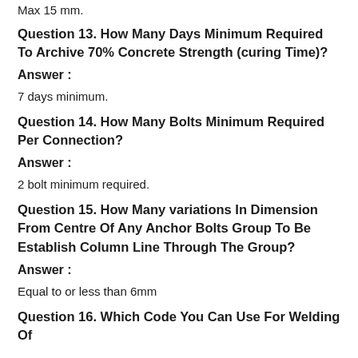Max 15 mm.
Question 13. How Many Days Minimum Required To Archive 70% Concrete Strength (curing Time)?
Answer :
7 days minimum.
Question 14. How Many Bolts Minimum Required Per Connection?
Answer :
2 bolt minimum required.
Question 15. How Many variations In Dimension From Centre Of Any Anchor Bolts Group To Be Establish Column Line Through The Group?
Answer :
Equal to or less than 6mm
Question 16. Which Code You Can Use For Welding Of